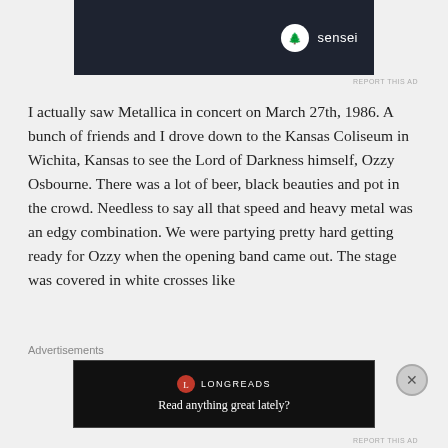[Figure (other): Advertisement banner with dark navy background showing 'sensei' brand logo with circular tree icon and white text]
I actually saw Metallica in concert on March 27th, 1986. A bunch of friends and I drove down to the Kansas Coliseum in Wichita, Kansas to see the Lord of Darkness himself, Ozzy Osbourne. There was a lot of beer, black beauties and pot in the crowd. Needless to say all that speed and heavy metal was an edgy combination. We were partying pretty hard getting ready for Ozzy when the opening band came out. The stage was covered in white crosses like
Advertisements
[Figure (other): Longreads advertisement with black background showing red circular logo, 'LONGREADS' text, and tagline 'Read anything great lately?']